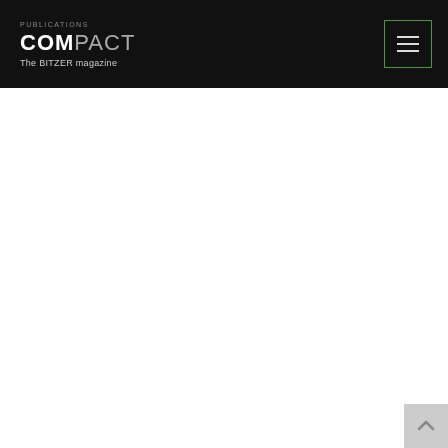COMPACT – The BITZER magazine
[Figure (screenshot): White content area below the navigation header, largely empty/blank white space]
[Figure (other): Scroll-to-top button in the bottom-right corner with an upward arrow icon on a light grey background]